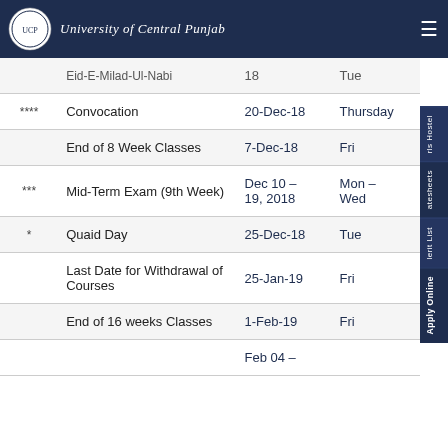University of Central Punjab
|  | Event | Date | Day |
| --- | --- | --- | --- |
|  | Eid-E-Milad-Ul-Nabi |  | Tue 18 |
| **** | Convocation | 20-Dec-18 | Thursday |
|  | End of 8 Week Classes | 7-Dec-18 | Fri |
| *** | Mid-Term Exam (9th Week) | Dec 10 – 19, 2018 | Mon – Wed |
| * | Quaid Day | 25-Dec-18 | Tue |
|  | Last Date for Withdrawal of Courses | 25-Jan-19 | Fri |
|  | End of 16 weeks Classes | 1-Feb-19 | Fri |
|  |  | Feb 04 – |  |